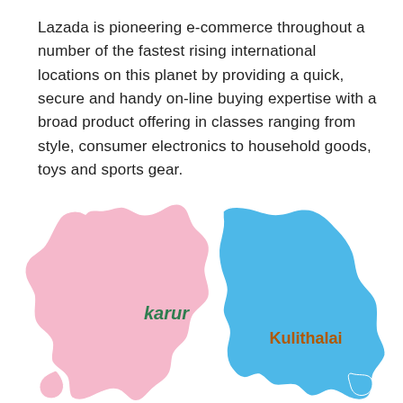Lazada is pioneering e-commerce throughout a number of the fastest rising international locations on this planet by providing a quick, secure and handy on-line buying expertise with a broad product offering in classes ranging from style, consumer electronics to household goods, toys and sports gear.
[Figure (map): Map showing two districts: 'karur' (pink region on the left, labeled in green bold italic) and 'Kulithalai' (blue region on the right, labeled in dark orange bold). The two regions share a border in the center of the image.]